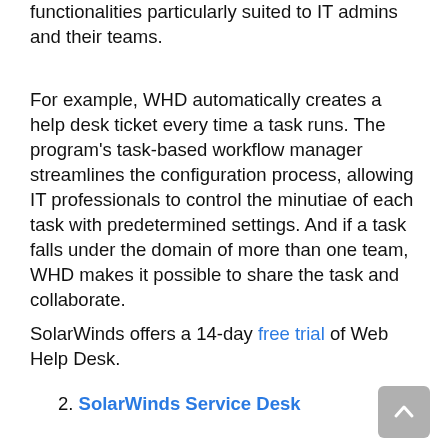functionalities particularly suited to IT admins and their teams.
For example, WHD automatically creates a help desk ticket every time a task runs. The program’s task-based workflow manager streamlines the configuration process, allowing IT professionals to control the minutiae of each task with predetermined settings. And if a task falls under the domain of more than one team, WHD makes it possible to share the task and collaborate.
SolarWinds offers a 14-day free trial of Web Help Desk.
2. SolarWinds Service Desk